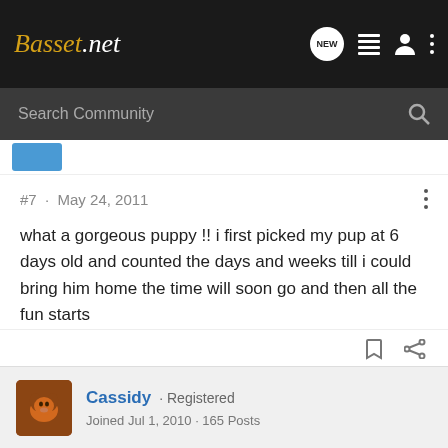Basset.net
Search Community
#7 · May 24, 2011
what a gorgeous puppy !! i first picked my pup at 6 days old and counted the days and weeks till i could bring him home the time will soon go and then all the fun starts
Cassidy · Registered
Joined Jul 1, 2010 · 165 Posts